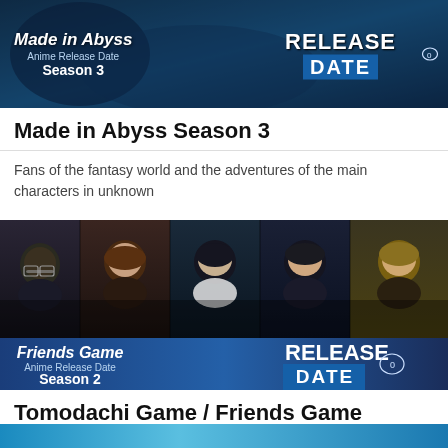[Figure (illustration): Banner image for Made in Abyss Anime Release Date Season 3 with RELEASE DATE text on dark blue background]
Made in Abyss Season 3
Fans of the fantasy world and the adventures of the main characters in unknown
[Figure (photo): Banner image showing 5 anime characters from Friends Game / Tomodachi Game with RELEASE DATE text, Anime Release Date Season 2]
Tomodachi Game / Friends Game Season 2
A friend is considered such until the moment he betrays. Anime "Tomodachi Game" makes
[Figure (illustration): Partial banner image at bottom of page, cut off]